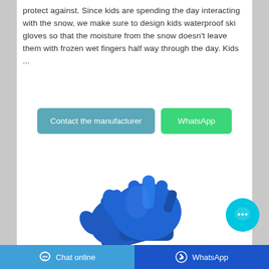protect against. Since kids are spending the day interacting with the snow, we make sure to design kids waterproof ski gloves so that the moisture from the snow doesn't leave them with frozen wet fingers half way through the day. Kids ...
[Figure (other): Two blue ski gloves displayed on white background]
[Figure (other): Cyan circular chat bubble icon with three dots indicating messaging]
Chat online   WhatsApp